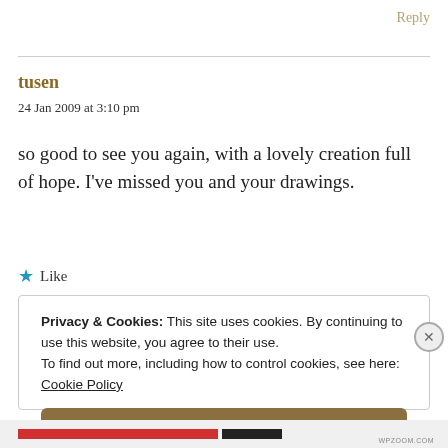Reply
tusen
24 Jan 2009 at 3:10 pm
so good to see you again, with a lovely creation full of hope. I’ve missed you and your drawings.
★ Like
Privacy & Cookies: This site uses cookies. By continuing to use this website, you agree to their use.
To find out more, including how to control cookies, see here:
Cookie Policy
Close and accept